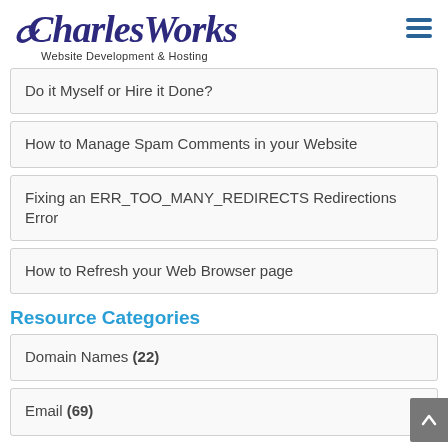CharlesWorks – Website Development & Hosting
Do it Myself or Hire it Done?
How to Manage Spam Comments in your Website
Fixing an ERR_TOO_MANY_REDIRECTS Redirections Error
How to Refresh your Web Browser page
Resource Categories
Domain Names (22)
Email (69)